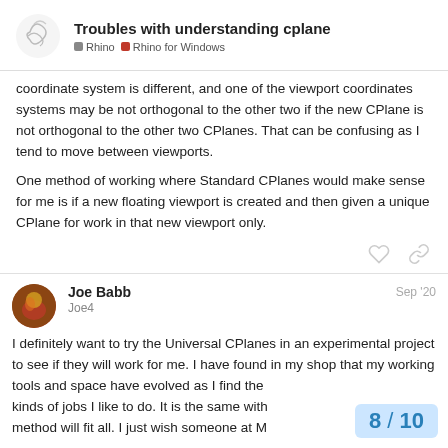Troubles with understanding cplane | Rhino | Rhino for Windows
coordinate system is different, and one of the viewport coordinates systems may be not orthogonal to the other two if the new CPlane is not orthogonal to the other two CPlanes. That can be confusing as I tend to move between viewports.
One method of working where Standard CPlanes would make sense for me is if a new floating viewport is created and then given a unique CPlane for work in that new viewport only.
Joe Babb Joe4 Sep '20
I definitely want to try the Universal CPlanes in an experimental project to see if they will work for me. I have found in my shop that my working tools and space have evolved as I find the kinds of jobs I like to do. It is the same with method will fit all. I just wish someone at M